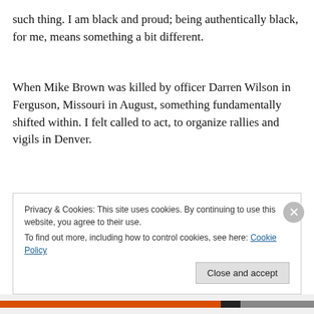such thing. I am black and proud; being authentically black, for me, means something a bit different.
When Mike Brown was killed by officer Darren Wilson in Ferguson, Missouri in August, something fundamentally shifted within. I felt called to act, to organize rallies and vigils in Denver.
Privacy & Cookies: This site uses cookies. By continuing to use this website, you agree to their use.
To find out more, including how to control cookies, see here: Cookie Policy
Close and accept